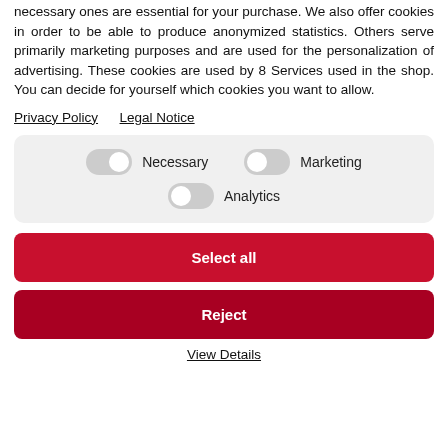necessary ones are essential for your purchase. We also offer cookies in order to be able to produce anonymized statistics. Others serve primarily marketing purposes and are used for the personalization of advertising. These cookies are used by 8 Services used in the shop. You can decide for yourself which cookies you want to allow.
Privacy Policy   Legal Notice
[Figure (infographic): Toggle switches for cookie consent options: Necessary (on/white knob right), Marketing (off/grey knob left), Analytics (off/grey knob left)]
Select all
Reject
View Details